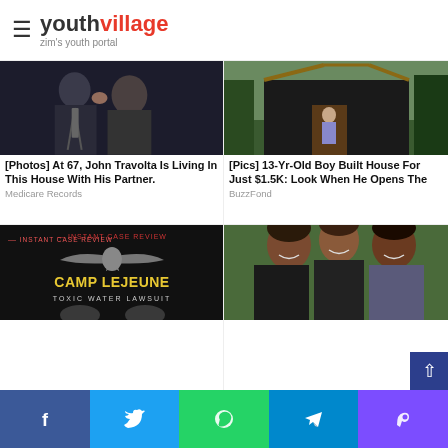youthvillage zim's youth portal
[Figure (photo): Two men kissing at an event, one in a suit]
[Photos] At 67, John Travolta Is Living In This House With His Partner.
Medicare Records
[Figure (photo): 13-year-old boy standing in doorway of a small house built from tarp and wood]
[Pics] 13-Yr-Old Boy Built House For Just $1.5K: Look When He Opens The
BuzzFond
[Figure (photo): Camp Lejeune Toxic Water Lawsuit advertisement with eagle emblem on black background]
[Figure (photo): Michelle Obama, daughter Sasha Obama, and Barack Obama smiling together]